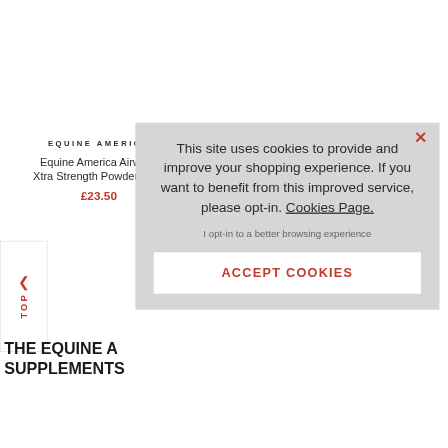EQUINE AMERICA
Equine America Airways Xtra Strength Powder 500g
£23.50
EQUINE AMERICA
Equine America Cortaflex HA Regular Strength
^ TOP
THE EQUINE A… SUPPLEMENTS…
This site uses cookies to provide and improve your shopping experience. If you want to benefit from this improved service, please opt-in. Cookies Page.

I opt-in to a better browsing experience

ACCEPT COOKIES